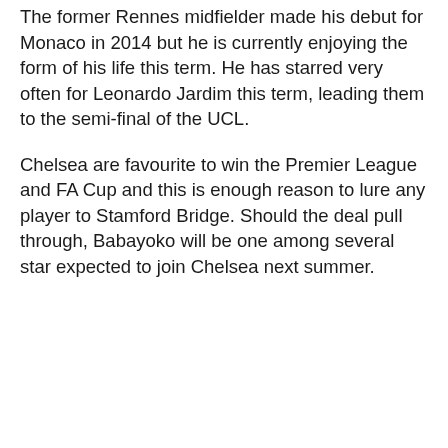The former Rennes midfielder made his debut for Monaco in 2014 but he is currently enjoying the form of his life this term. He has starred very often for Leonardo Jardim this term, leading them to the semi-final of the UCL.
Chelsea are favourite to win the Premier League and FA Cup and this is enough reason to lure any player to Stamford Bridge. Should the deal pull through, Babayoko will be one among several star expected to join Chelsea next summer.